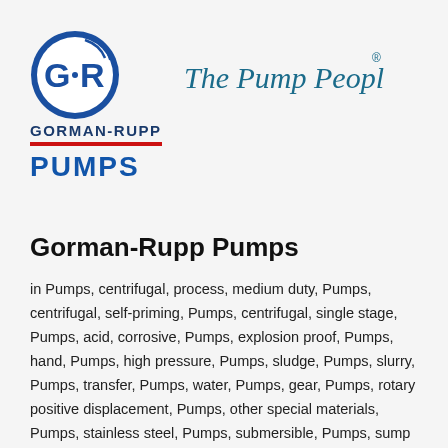[Figure (logo): Gorman-Rupp Pumps logo with G·R circular emblem, 'GORMAN-RUPP' text, red underline bar, blue 'PUMPS' text, and 'The Pump People' cursive tagline with registered trademark]
Gorman-Rupp Pumps
in Pumps, centrifugal, process, medium duty, Pumps, centrifugal, self-priming, Pumps, centrifugal, single stage, Pumps, acid, corrosive, Pumps, explosion proof, Pumps, hand, Pumps, high pressure, Pumps, sludge, Pumps, slurry, Pumps, transfer, Pumps, water, Pumps, gear, Pumps, rotary positive displacement, Pumps, other special materials, Pumps, stainless steel, Pumps, submersible, Pumps, sump